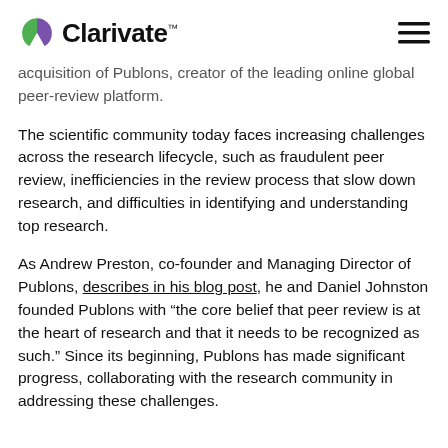Clarivate™
acquisition of Publons, creator of the leading online global peer-review platform.
The scientific community today faces increasing challenges across the research lifecycle, such as fraudulent peer review, inefficiencies in the review process that slow down research, and difficulties in identifying and understanding top research.
As Andrew Preston, co-founder and Managing Director of Publons, describes in his blog post, he and Daniel Johnston founded Publons with "the core belief that peer review is at the heart of research and that it needs to be recognized as such." Since its beginning, Publons has made significant progress, collaborating with the research community in addressing these challenges.